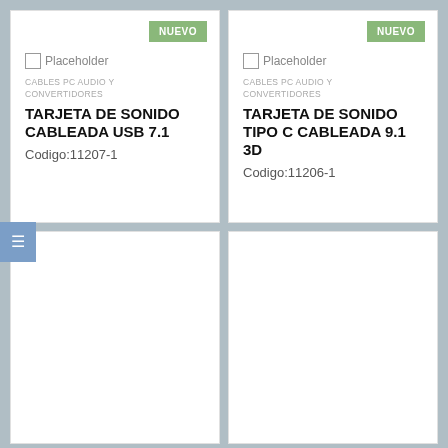[Figure (screenshot): Product card 1: NUEVO badge, placeholder image, category CABLES PC AUDIO Y CONVERTIDORES, product title TARJETA DE SONIDO CABLEADA USB 7.1, Codigo:11207-1]
[Figure (screenshot): Product card 2: NUEVO badge, placeholder image, category CABLES PC AUDIO Y CONVERTIDORES, product title TARJETA DE SONIDO TIPO C CABLEADA 9.1 3D, Codigo:11206-1]
[Figure (screenshot): Product card 3: empty card (bottom left)]
[Figure (screenshot): Product card 4: empty card (bottom right)]